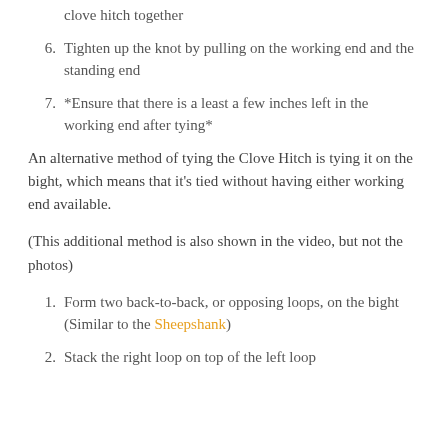5. Clean up the knot by squeezing the two loops of the clove hitch together
6. Tighten up the knot by pulling on the working end and the standing end
7. *Ensure that there is a least a few inches left in the working end after tying*
An alternative method of tying the Clove Hitch is tying it on the bight, which means that it's tied without having either working end available.
(This additional method is also shown in the video, but not the photos)
1. Form two back-to-back, or opposing loops, on the bight (Similar to the Sheepshank)
2. Stack the right loop on top of the left loop